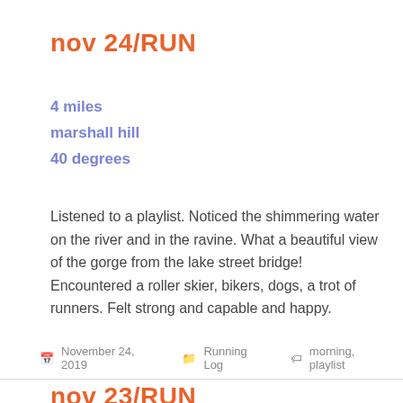nov 24/RUN
4 miles
marshall hill
40 degrees
Listened to a playlist. Noticed the shimmering water on the river and in the ravine. What a beautiful view of the gorge from the lake street bridge! Encountered a roller skier, bikers, dogs, a trot of runners. Felt strong and capable and happy.
November 24, 2019   Running Log   morning, playlist
nov 23/RUN